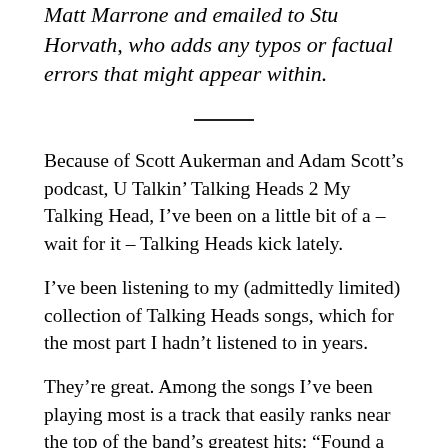Matt Marrone and emailed to Stu Horvath, who adds any typos or factual errors that might appear within.
Because of Scott Aukerman and Adam Scott’s podcast, U Talkin’ Talking Heads 2 My Talking Head, I’ve been on a little bit of a – wait for it – Talking Heads kick lately.
I’ve been listening to my (admittedly limited) collection of Talking Heads songs, which for the most part I hadn’t listened to in years.
They’re great. Among the songs I’ve been playing most is a track that easily ranks near the top of the band’s greatest hits: “Found a Job,” from the band’s 1978 album, “More Songs